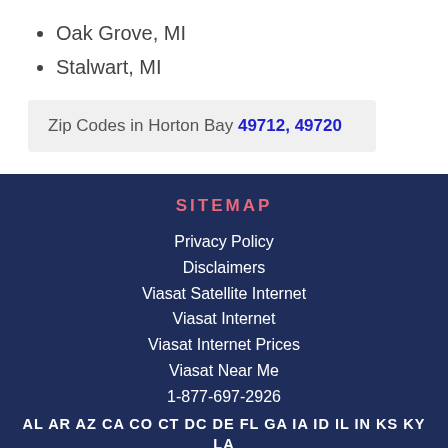Oak Grove, MI
Stalwart, MI
Zip Codes in Horton Bay 49712, 49720
SITEMAP
Privacy Policy
Disclaimers
Viasat Satellite Internet
Viasat Internet
Viasat Internet Prices
Viasat Near Me
1-877-697-2926
AL AR AZ CA CO CT DC DE FL GA IA ID IL IN KS KY LA